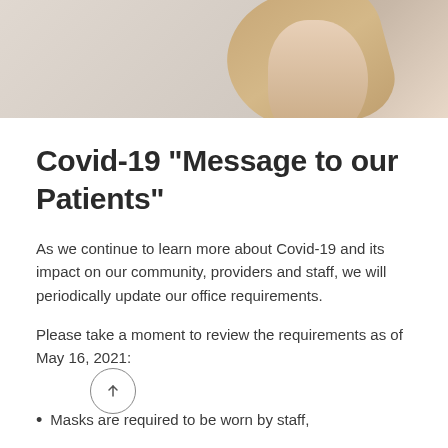[Figure (photo): Partial view of a person's neck and shoulder with light brown hair, against a light grey background]
Covid-19 “Message to our Patients”
As we continue to learn more about Covid-19 and its impact on our community, providers and staff, we will periodically update our office requirements.
Please take a moment to review the requirements as of May 16, 2021:
Masks are required to be worn by staff,